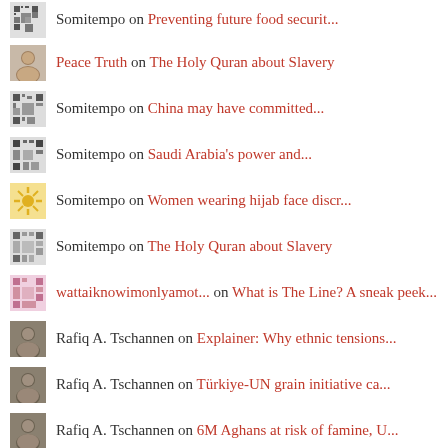Somitempo on Preventing future food securit...
Peace Truth on The Holy Quran about Slavery
Somitempo on China may have committed...
Somitempo on Saudi Arabia's power and...
Somitempo on Women wearing hijab face discr...
Somitempo on The Holy Quran about Slavery
wattaiknowimonlyamot... on What is The Line? A sneak peek...
Rafiq A. Tschannen on Explainer: Why ethnic tensions...
Rafiq A. Tschannen on Türkiye-UN grain initiative ca...
Rafiq A. Tschannen on 6M Aghans at risk of famine, U...
Rafiq A. Tschannen on After Intolerance Comes Peace
Rafiq A. Tschannen on Women wearing hijab face discr...
Rafiq A. Tschannen on The Holy Quran about Slavery